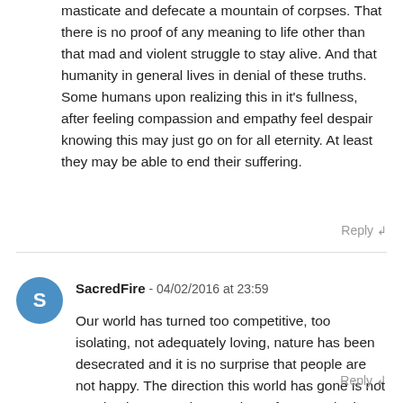masticate and defecate a mountain of corpses. That there is no proof of any meaning to life other than that mad and violent struggle to stay alive. And that humanity in general lives in denial of these truths. Some humans upon realizing this in it's fullness, after feeling compassion and empathy feel despair knowing this may just go on for all eternity. At least they may be able to end their suffering.
Reply ↲
SacredFire - 04/02/2016 at 23:59
Our world has turned too competitive, too isolating, not adequately loving, nature has been desecrated and it is no surprise that people are not happy. The direction this world has gone is not good. It is no wonder people prefer to not be here.
Reply ↲